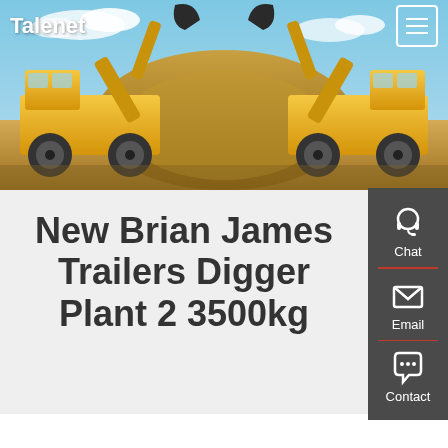[Figure (photo): Hero banner photo showing two large yellow wheel loaders/excavators facing each other with raised buckets, set against a blue sky with a large dirt/sand mound in the center background.]
Talenet
New Brian James Trailers Digger Plant 2 3500kg
[Figure (infographic): Right sidebar with dark grey background showing three contact options: Chat (headset icon), Email (envelope icon), Contact (speech bubble icon), each separated by a red horizontal line.]